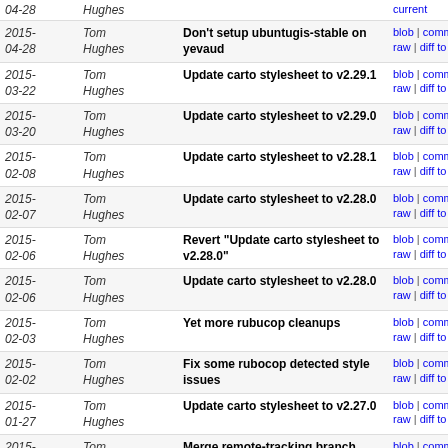| Date | Author | Message | Links |
| --- | --- | --- | --- |
| 2015-04-28 | Tom Hughes | Don't setup ubuntugis-stable on yevaud | blob | commitdiff | raw | diff to current |
| 2015-03-22 | Tom Hughes | Update carto stylesheet to v2.29.1 | blob | commitdiff | raw | diff to current |
| 2015-03-20 | Tom Hughes | Update carto stylesheet to v2.29.0 | blob | commitdiff | raw | diff to current |
| 2015-02-08 | Tom Hughes | Update carto stylesheet to v2.28.1 | blob | commitdiff | raw | diff to current |
| 2015-02-07 | Tom Hughes | Update carto stylesheet to v2.28.0 | blob | commitdiff | raw | diff to current |
| 2015-02-06 | Tom Hughes | Revert "Update carto stylesheet to v2.28.0" | blob | commitdiff | raw | diff to current |
| 2015-02-06 | Tom Hughes | Update carto stylesheet to v2.28.0 | blob | commitdiff | raw | diff to current |
| 2015-02-03 | Tom Hughes | Yet more rubucop cleanups | blob | commitdiff | raw | diff to current |
| 2015-02-02 | Tom Hughes | Fix some rubocop detected style issues | blob | commitdiff | raw | diff to current |
| 2015-01-27 | Tom Hughes | Update carto stylesheet to v2.27.0 | blob | commitdiff | raw | diff to current |
| 2015-01-17 | Tom Hughes | Merge remote-tracking branch 'zerebubuth/add-tile-log... | blob | commitdiff | raw | diff to current |
| 2015-01-06 | Tom Hughes | Update carto stylesheet to v2.26.1 | blob | commitdiff | raw | diff to current |
| 2015-01-02 | Tom Hughes | Update carto stylesheet to v2.26.0 | blob | commitdiff | raw | diff to current |